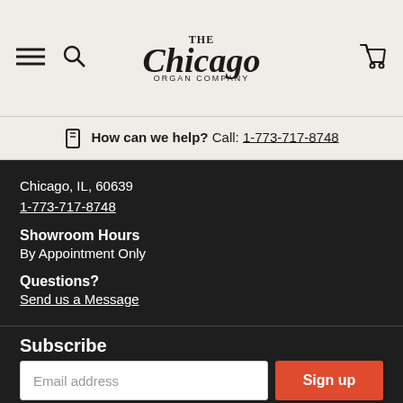The Chicago Organ Company
How can we help? Call: 1-773-717-8748
Chicago, IL, 60639
1-773-717-8748
Showroom Hours
By Appointment Only
Questions?
Send us a Message
Subscribe
Get Updates, Discounts and More!
Email address | Sign up